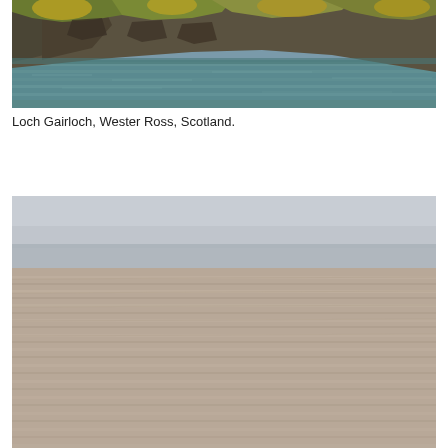[Figure (photo): Photograph of Loch Gairloch, Wester Ross, Scotland. Shows rocky shoreline with moss-covered rocks and vegetation, calm blue-green water in the foreground.]
Loch Gairloch, Wester Ross, Scotland.
[Figure (photo): Photograph of a wide sandy tidal beach with rippled sand patterns and calm shallow water with a hazy sky in the background.]